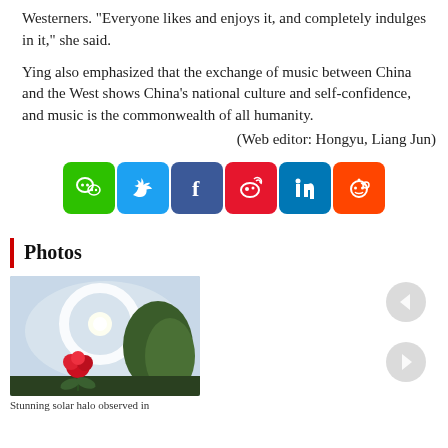Westerners. "Everyone likes and enjoys it, and completely indulges in it," she said.
Ying also emphasized that the exchange of music between China and the West shows China's national culture and self-confidence, and music is the commonwealth of all humanity.
(Web editor: Hongyu, Liang Jun)
[Figure (infographic): Social media sharing buttons: WeChat (green), Twitter (blue), Facebook (dark blue), Weibo (red), LinkedIn (blue), Reddit (orange)]
Photos
[Figure (photo): Stunning solar halo observed in sky above trees with a red rose flower in the foreground]
Stunning solar halo observed in